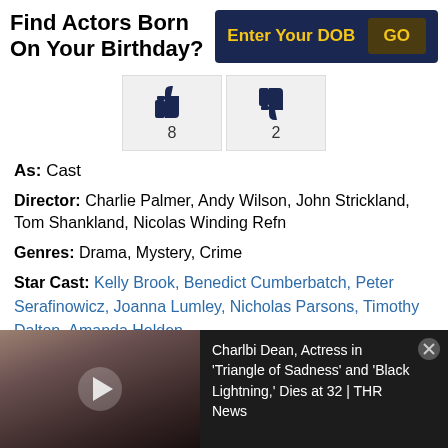Find Actors Born On Your Birthday?
Enter Your DOB | GO
[Figure (infographic): Thumbs up icon with count 8 and thumbs down icon with count 2]
As: Cast
Director: Charlie Palmer, Andy Wilson, John Strickland, Tom Shankland, Nicolas Winding Refn
Genres: Drama, Mystery, Crime
Star Cast: Kelly Brook, Benedict Cumberbatch, Peter Serafinowicz, Joanna Lumley, Nicholas Parsons, Timothy Dalton, Amanda Holden
[Figure (photo): News video thumbnail: Charlbi Dean, Actress in 'Triangle of Sadness' and 'Black Lightning,' Dies at 32 | THR News]